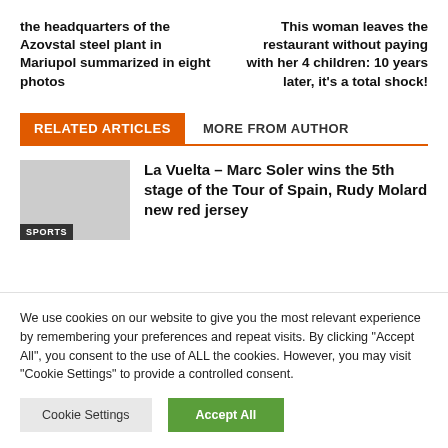the headquarters of the Azovstal steel plant in Mariupol summarized in eight photos
This woman leaves the restaurant without paying with her 4 children: 10 years later, it's a total shock!
RELATED ARTICLES
MORE FROM AUTHOR
La Vuelta – Marc Soler wins the 5th stage of the Tour of Spain, Rudy Molard new red jersey
We use cookies on our website to give you the most relevant experience by remembering your preferences and repeat visits. By clicking "Accept All", you consent to the use of ALL the cookies. However, you may visit "Cookie Settings" to provide a controlled consent.